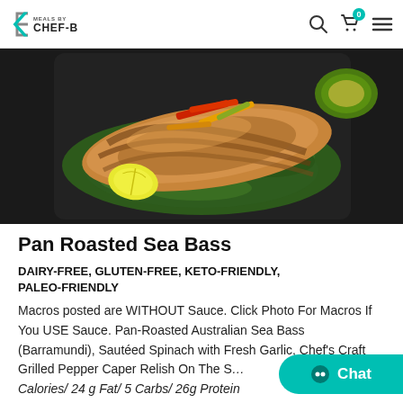Meals by Chef-B
[Figure (photo): A meal prep container with pan roasted sea bass (barramundi) on a bed of sautéed spinach, with colorful grilled pepper strips and a lemon wedge.]
Pan Roasted Sea Bass
DAIRY-FREE, GLUTEN-FREE, KETO-FRIENDLY, PALEO-FRIENDLY
Macros posted are WITHOUT Sauce. Click Photo For Macros If You USE Sauce. Pan-Roasted Australian Sea Bass (Barramundi), Sautéed Spinach with Fresh Garlic, Chef's Craft Grilled Pepper Caper Relish On The S... Calories/ 24 g Fat/ 5 Carbs/ 26g Protein